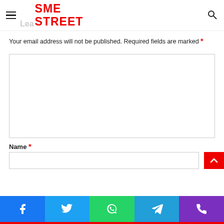SME Street
Your email address will not be published. Required fields are marked *
Name *
[Figure (other): Social sharing bar with Facebook, Twitter, WhatsApp, Telegram, and Phone icons]